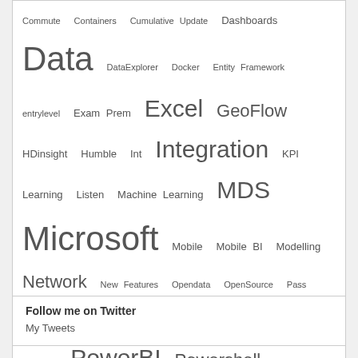[Figure (infographic): Tag cloud with words of varying sizes representing topics: Commute, Containers, Cumulative Update, Dashboards, Data, DataExplorer, Docker, Entity Framework, entrylevel, Exam Prem, Excel, GeoFlow, HDinsight, Humble, Int, Integration, KPI, Learning, Listen, Machine Learning, MDS, Microsoft, Mobile, Mobile BI, Modelling, Network, New Features, Opendata, OpenSource, Pass, Pass Summit, 14, Performance, Postman, PowerBI, Powershell, Precon, Reeporting Services, Rehfeld, Rest Api, Salesforce, Scrum, Security, ServicePacks, Smartphone, Speaker, SQL, SQL2012, SQL2014, SQL2016, SQLHANGOUTS, SQLRally, SQLSaturday, SQLShack, SQLSUG, SSIS, SSMS, SSRS, SubscriptionViews, Surrogatekeys, Tech-Talk, Tricks, Unkownmember, Visualization, Waterfall]
Follow me on Twitter
My Tweets